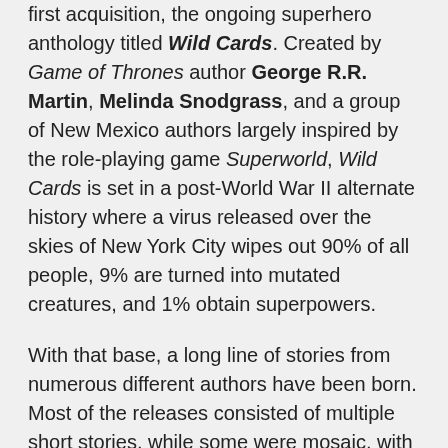first acquisition, the ongoing superhero anthology titled Wild Cards. Created by Game of Thrones author George R.R. Martin, Melinda Snodgrass, and a group of New Mexico authors largely inspired by the role-playing game Superworld, Wild Cards is set in a post-World War II alternate history where a virus released over the skies of New York City wipes out 90% of all people, 9% are turned into mutated creatures, and 1% obtain superpowers.
With that base, a long line of stories from numerous different authors have been born. Most of the releases consisted of multiple short stories, while some were mosaic, with multiple authors writing their own individual storylines that would flow together into one linear story, and some were full novels written by one author.
The anthology began in 1987 and has continued on over the years through four different publishers. Currently Wild Cards...